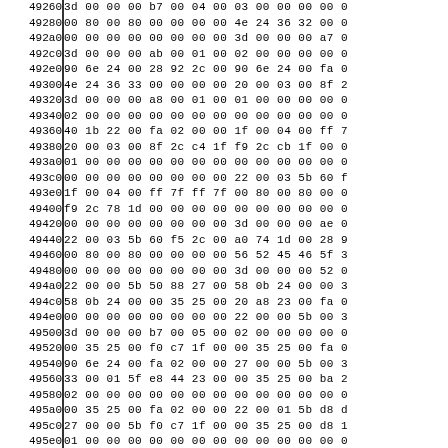| Address | Hex Data |
| --- | --- |
| 49260 | 3d 00 00 00 b7 00 04 00 03 00 00 00 00 0 |
| 49280 | 00 80 00 80 00 00 00 00 4e 24 36 32 00 0 |
| 492a0 | 00 00 00 00 00 00 00 00 3d 00 00 00 a7 0 |
| 492c0 | 3d 00 00 00 ab 00 01 00 02 00 00 00 00 0 |
| 492e0 | 90 6e 24 00 28 92 2c 00 90 6e 24 00 fa 0 |
| 49300 | 4e 24 36 33 00 00 00 00 20 00 03 00 8f 2 |
| 49320 | 3d 00 00 00 a8 00 01 00 01 00 00 00 00 0 |
| 49340 | 02 00 00 00 00 00 00 00 00 00 00 00 00 0 |
| 49360 | 40 1b 22 00 fa 02 00 00 1f 00 04 00 ff 7 |
| 49380 | 20 00 03 00 8f 2c c4 1f f9 2c cb 1f 00 0 |
| 493a0 | 01 00 00 00 00 00 00 00 00 00 00 00 00 0 |
| 493c0 | 00 00 00 00 00 00 00 00 22 00 03 5b 60 f |
| 493e0 | 1f 00 04 00 ff 7f ff 7f 00 80 00 80 00 0 |
| 49400 | f9 2c 78 1d 00 00 00 00 00 00 00 00 00 0 |
| 49420 | 00 00 00 00 00 00 00 00 3d 00 00 00 ae 0 |
| 49440 | 22 00 03 5b 60 f5 2c 00 a0 74 1d 00 28 9 |
| 49460 | 00 80 00 80 00 00 00 00 56 52 45 46 5f 3 |
| 49480 | 00 00 00 00 00 00 00 00 3d 00 00 00 52 0 |
| 494a0 | 22 00 00 5b 50 88 27 00 58 0b 24 00 00 3 |
| 494c0 | 58 0b 24 00 00 35 25 00 20 a8 23 00 fa 0 |
| 494e0 | 00 00 00 00 00 00 00 00 22 00 00 5b 00 3 |
| 49500 | 3d 00 00 00 b7 00 05 00 02 00 00 00 00 0 |
| 49520 | 00 35 25 00 f0 c7 1f 00 00 35 25 00 fa 0 |
| 49540 | 90 6e 24 00 fa 02 00 00 27 00 00 5b 00 3 |
| 49560 | 33 00 01 5f e8 44 23 00 00 35 25 00 ba 2 |
| 49580 | 02 00 00 00 00 00 00 00 00 00 00 00 00 0 |
| 495a0 | 00 35 25 00 fa 02 00 00 22 00 01 5b d8 d |
| 495c0 | 27 00 00 5b f0 c7 1f 00 00 35 25 00 d8 1 |
| 495e0 | 01 00 00 00 00 00 00 00 00 00 00 00 00 0 |
| 49600 | 00 35 25 00 fa 02 00 00 22 00 00 5b f8 |